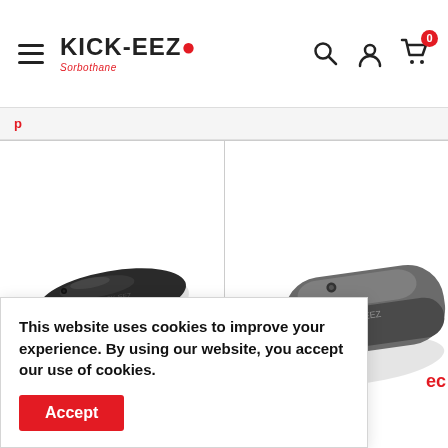KICK-EEZO — navigation header with hamburger menu, logo, search, account, and cart icons (cart shows 0)
This website uses cookies to improve your experience. By using our website, you accept our use of cookies.
[Figure (photo): Black Kick-Eez recoil pad, oval shaped with two screw holes, viewed from above at slight angle]
[Figure (photo): Gray Kick-Eez recoil pad, rectangular with rounded edges, one screw hole visible, cropped at right edge]